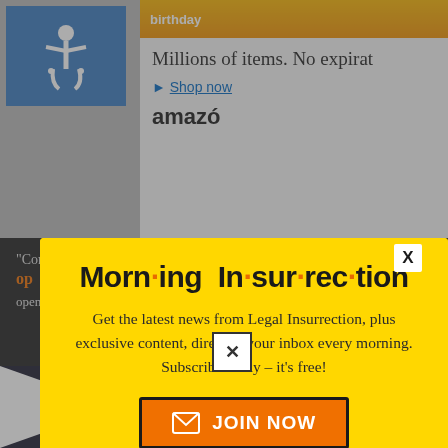[Figure (screenshot): Background webpage showing Amazon gift card advertisement with accessibility icon and 'Millions of items. No expiration' text, and Shop now link]
[Figure (screenshot): Congress man with guts dot com text and bottom perspective ad bar reading 'THE PERSPECTIVE - SEE WHAT YOU'RE MISSING - READ MORE']
Morn·ing In·sur·rec·tion
Get the latest news from Legal Insurrection, plus exclusive content, direct to your inbox every morning. Subscribe today – it's free!
[Figure (other): Orange JOIN NOW button with envelope icon]